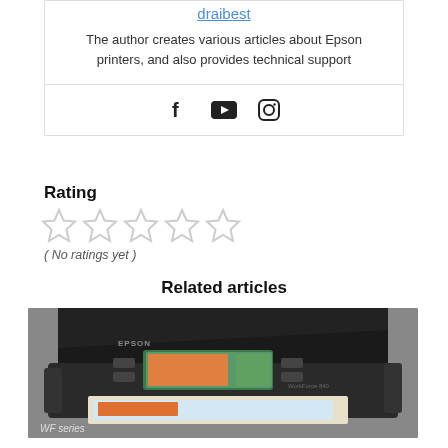draibest
The author creates various articles about Epson printers, and also provides technical support
[Figure (illustration): Social media icons: Facebook (f), YouTube (play button in rounded square), Instagram (camera in rounded square)]
Rating
[Figure (other): Five empty/unfilled star rating icons]
( No ratings yet )
Related articles
[Figure (photo): Photo of an Epson WorkForce multifunction printer (WF series) with a colorful printed page visible in the output tray. Label 'WF series' appears at bottom left.]